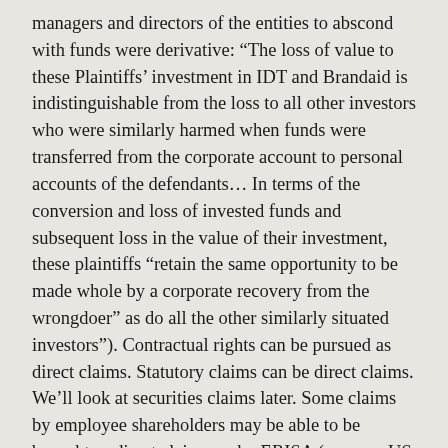managers and directors of the entities to abscond with funds were derivative: “The loss of value to these Plaintiffs’ investment in IDT and Brandaid is indistinguishable from the loss to all other investors who were similarly harmed when funds were transferred from the corporate account to personal accounts of the defendants… In terms of the conversion and loss of invested funds and subsequent loss in the value of their investment, these plaintiffs “retain the same opportunity to be made whole by a corporate recovery from the wrongdoer” as do all the other similarly situated investors”). Contractual rights can be pursued as direct claims. Statutory claims can be direct claims. We’ll look at securities claims later. Some claims by employee shareholders may be able to be brought as direct claims under ERISA (see, e.g. US Sugar Corporation Litigation, SD Fl. 2008).